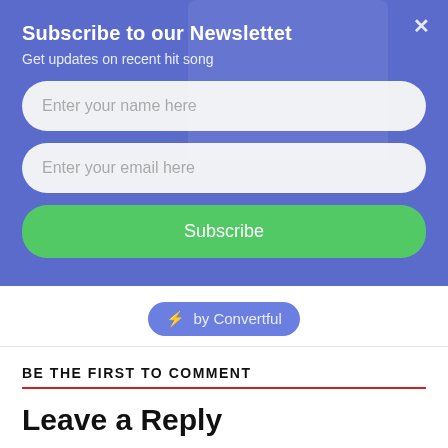Subscribe to our Newslettet
Get updates on recent hit song
Enter your name here
Enter your email here
Subscribe
⚡ by Convertful
BE THE FIRST TO COMMENT
Leave a Reply
Your email address will not be published.
Comment